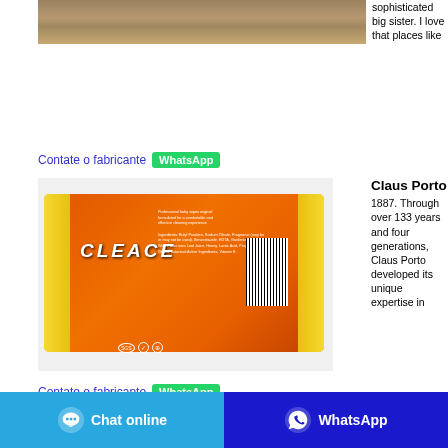[Figure (photo): Top portion of a product/wood surface photo, cropped]
sophisticated big sister. I love that places like
Contate o fabricante   WhatsApp
[Figure (photo): Orange packaged product (Cleace brand) lying on white background showing back label with barcode and SGS certification badges]
Claus Porto
1887. Through over 133 years and four generations, Claus Porto developed its unique expertise in
Contate o fabricante   WhatsApp
Chat online
WhatsApp